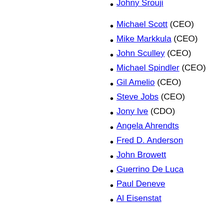Dan Riccio
Phil Schiller
Johny Srouji
Executives
Michael Scott (CEO)
Mike Markkula (CEO)
John Sculley (CEO)
Michael Spindler (CEO)
Gil Amelio (CEO)
Steve Jobs (CEO)
Jony Ive (CDO)
Angela Ahrendts
Fred D. Anderson
John Browett
Guerrino De Luca
Paul Deneve
Former